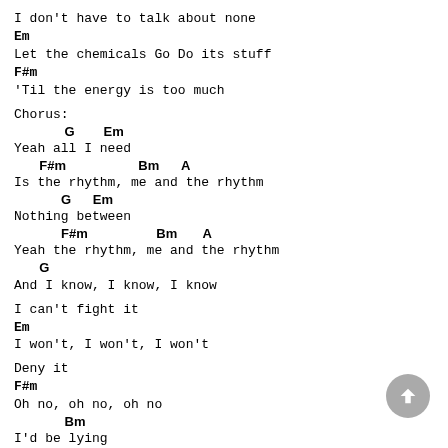I don't have to talk about none
Em
Let the chemicals Go Do its stuff
F#m
'Til the energy is too much
Chorus:
G        Em
Yeah all I need
F#m                    Bm      A
Is the rhythm, me and the rhythm
G      Em
Nothing between
F#m                   Bm       A
Yeah the rhythm, me and the rhythm
G
And I know, I know, I know
I can't fight it
Em
I won't, I won't, I won't
Deny it
F#m
Oh no, oh no, oh no
Bm
I'd be lying
A                G       Em
If I said I didn't need